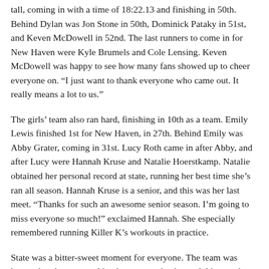tall, coming in with a time of 18:22.13 and finishing in 50th. Behind Dylan was Jon Stone in 50th, Dominick Pataky in 51st, and Keven McDowell in 52nd. The last runners to come in for New Haven were Kyle Brumels and Cole Lensing. Keven McDowell was happy to see how many fans showed up to cheer everyone on. “I just want to thank everyone who came out. It really means a lot to us.”
The girls’ team also ran hard, finishing in 10th as a team. Emily Lewis finished 1st for New Haven, in 27th. Behind Emily was Abby Grater, coming in 31st. Lucy Roth came in after Abby, and after Lucy were Hannah Kruse and Natalie Hoerstkamp. Natalie obtained her personal record at state, running her best time she’s ran all season. Hannah Kruse is a senior, and this was her last meet. “Thanks for such an awesome senior season. I’m going to miss everyone so much!” exclaimed Hannah. She especially remembered running Killer K’s workouts in practice.
State was a bitter-sweet moment for everyone. The team was happy that they were taking home a trophy, but sad this was the seniors’ last year. “Man, I’m gonna miss cross country. I can’t believe this is my last year,” stated Dominick Pataky. Mr. Tucker was more than happy with